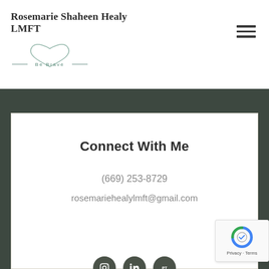[Figure (logo): Rosemarie Shaheen Healy LMFT logo with heart shape and 'Be Brave' tagline]
[Figure (other): Hamburger menu icon (three horizontal lines)]
Connect With Me
(669) 253-8729
rosemariehealylmft@gmail.com
[Figure (other): Social media icons: Instagram, LinkedIn, PT (Psychology Today)]
[Figure (other): reCAPTCHA badge with Privacy and Terms links]